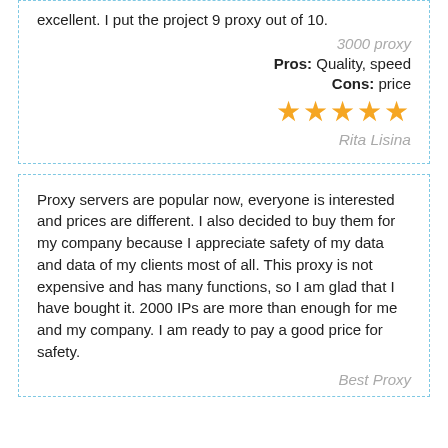excellent. I put the project 9 proxy out of 10.
3000 proxy
Pros: Quality, speed
Cons: price
[Figure (other): 5 gold stars rating]
Rita Lisina
Proxy servers are popular now, everyone is interested and prices are different. I also decided to buy them for my company because I appreciate safety of my data and data of my clients most of all. This proxy is not expensive and has many functions, so I am glad that I have bought it. 2000 IPs are more than enough for me and my company. I am ready to pay a good price for safety.
Best Proxy